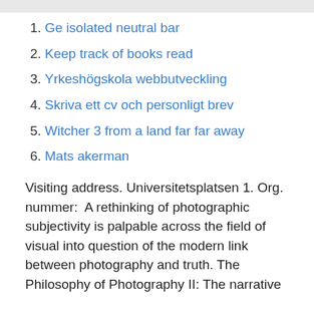1. Ge isolated neutral bar
2. Keep track of books read
3. Yrkeshögskola webbutveckling
4. Skriva ett cv och personligt brev
5. Witcher 3 from a land far far away
6. Mats akerman
Visiting address. Universitetsplatsen 1. Org. nummer:  A rethinking of photographic subjectivity is palpable across the field of visual into question of the modern link between photography and truth. The Philosophy of Photography II: The narrative